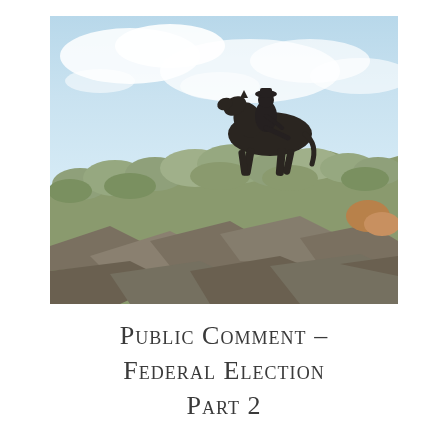[Figure (photo): A bronze equestrian statue of a rider on horseback, silhouetted against a cloudy blue sky, situated atop a rocky hillside with sage brush and rocks in the foreground.]
Public Comment – Federal Election Part 2